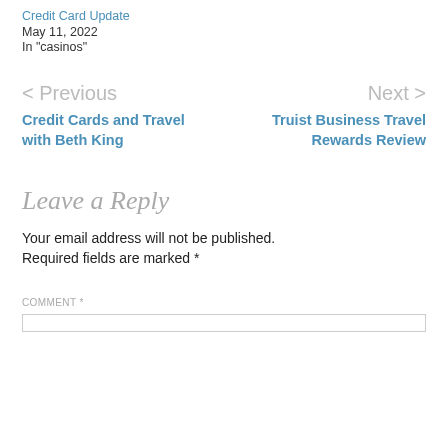Credit Card Update
May 11, 2022
In "casinos"
< Previous
Credit Cards and Travel with Beth King
Next >
Truist Business Travel Rewards Review
Leave a Reply
Your email address will not be published. Required fields are marked *
COMMENT *